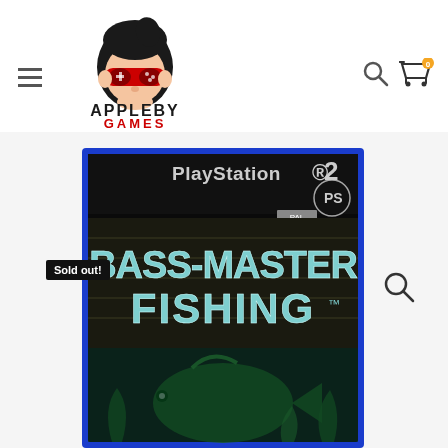[Figure (logo): Appleby Games logo — cartoon character with red gaming controller glasses and black hair, with the text APPLEBY in black and GAMES in red below]
[Figure (photo): PlayStation 2 game case for Bass Master Fishing, shown at slight angle. Blue case with PlayStation 2 branding at top. Game title BASS-MASTER FISHING in large teal/white text on dark background with a bass fish visible at bottom.]
Sold out!